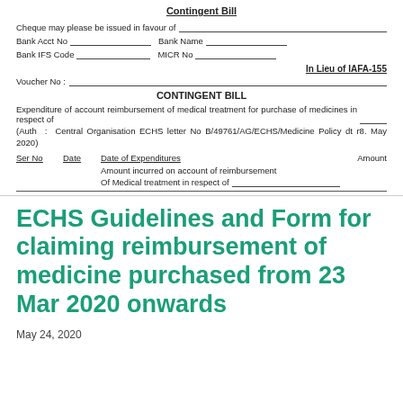Contingent Bill
Cheque may please be issued in favour of
Bank Acct No   Bank Name
Bank IFS Code   MICR No
In Lieu of IAFA-155
Voucher No
CONTINGENT BILL
Expenditure of account reimbursement of medical treatment for purchase of medicines in respect of
(Auth : Central Organisation ECHS letter No B/49761/AG/ECHS/Medicine Policy dt r8 May 2020)
| Ser No | Date | Date of Expenditures | Amount |
| --- | --- | --- | --- |
|  |  | Amount incurred on account of reimbursement Of Medical treatment in respect of ________ |  |
ECHS Guidelines and Form for claiming reimbursement of medicine purchased from 23 Mar 2020 onwards
May 24, 2020